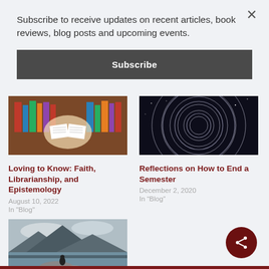Subscribe to receive updates on recent articles, book reviews, blog posts and upcoming events.
Subscribe
[Figure (photo): Person reading an open book surrounded by library bookshelves]
Loving to Know: Faith, Librarianship, and Epistemology
August 10, 2022
In "Blog"
[Figure (photo): Long-exposure star trails in a dark night sky creating circular light patterns]
Reflections on How to End a Semester
December 2, 2020
In “Blog”
[Figure (photo): Person sitting on rocks overlooking a dramatic mountain and lake landscape under cloudy sky]
COVID: Me, Not Me, and Freedom in